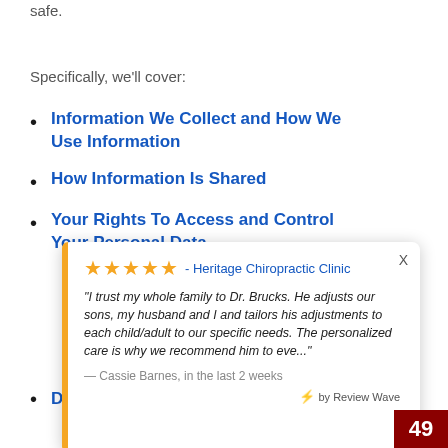safe.
Specifically, we'll cover:
Information We Collect and How We Use Information
How Information Is Shared
Your Rights To Access and Control Your Personal Data
Data Retention...
[Figure (screenshot): Review popup overlay showing 5-star rating for Heritage Chiropractic Clinic with a quote from Cassie Barnes and 'by Review Wave' branding. Close (X) button visible. Red box with number 49 partially visible at bottom right.]